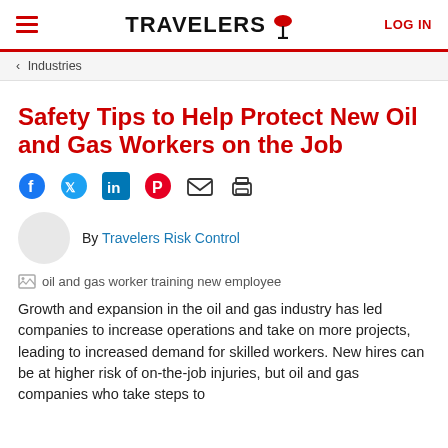TRAVELERS | LOG IN
< Industries
Safety Tips to Help Protect New Oil and Gas Workers on the Job
[Figure (infographic): Social sharing icons: Facebook, Twitter, LinkedIn, Pinterest, Email, Print]
By Travelers Risk Control
[Figure (photo): oil and gas worker training new employee]
Growth and expansion in the oil and gas industry has led companies to increase operations and take on more projects, leading to increased demand for skilled workers. New hires can be at higher risk of on-the-job injuries, but oil and gas companies who take steps to